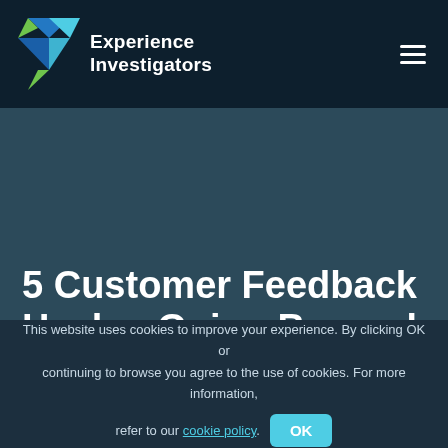Experience Investigators
5 Customer Feedback Hacks: Going Beyond the Surveys
This website uses cookies to improve your experience. By clicking OK or continuing to browse you agree to the use of cookies. For more information, refer to our cookie policy.